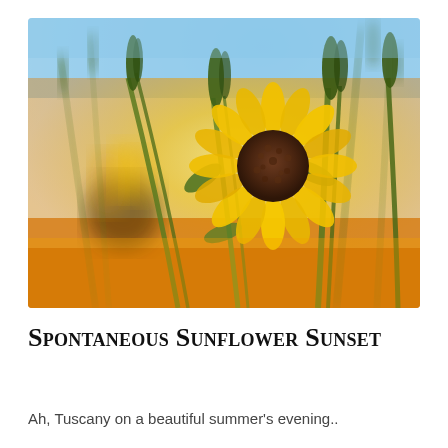[Figure (photo): Close-up photograph of sunflowers and grass stems in a field, with warm golden yellow tones and a blue sky in the background. A sunflower with a brown center is prominent, surrounded by tall grass stalks with seed heads. Bokeh effect creates a dreamy, warm atmosphere.]
Spontaneous Sunflower Sunset
Ah, Tuscany on a beautiful summer's evening..